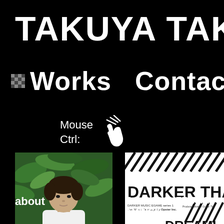TAKUYA TAKAH
■ Works   Contact
Mouse Ctrl:
[Figure (photo): Portrait photo of a Japanese man in white shirt against green foliage background]
about
[Figure (photo): Event flyer for DARKER THA... DREAMI... event on 2019/12/20 Fri. 20pm, produced by Opster Inc.]
Event "DAKER THA AMING"